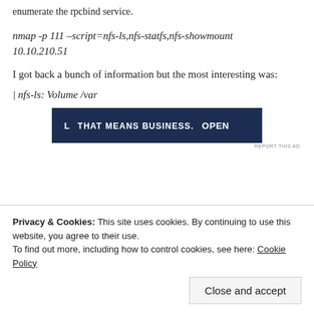enumerate the rpcbind service.
nmap -p 111 –script=nfs-ls,nfs-statfs,nfs-showmount 10.10.210.51
I got back a bunch of information but the most interesting was:
| nfs-ls: Volume /var
[Figure (other): Advertisement banner with dark navy background showing text 'THAT MEANS BUSINESS.' with 'OPEN' partially visible on the right side.]
Privacy & Cookies: This site uses cookies. By continuing to use this website, you agree to their use.
To find out more, including how to control cookies, see here: Cookie Policy
Close and accept